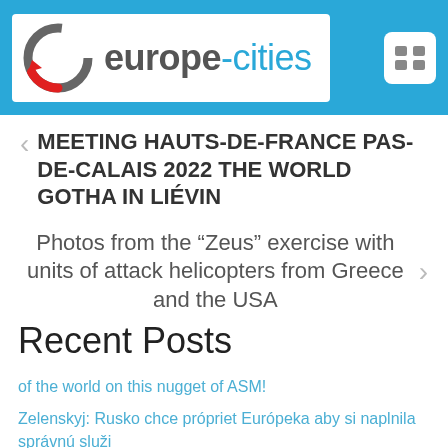[Figure (logo): europe-cities website logo with circular arrow icon in grey and red, text 'europe-cities' in grey and blue]
MEETING HAUTS-DE-FRANCE PAS-DE-CALAIS 2022 THE WORLD GOTHA IN LIÉVIN
Photos from the “Zeus” exercise with units of attack helicopters from Greece and the USA
Recent Posts
of the world on this nugget of ASM!
Zelenskyj: Rusko chce própriet Európeka aby si naplnila správnú služi